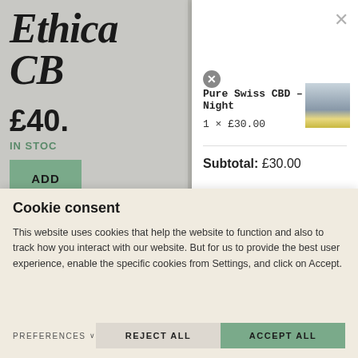[Figure (screenshot): Website background showing Ethical CBD product page with logo, price £40.00, IN STOCK label, and ADD button]
[Figure (screenshot): Shopping cart dropdown modal showing Pure Swiss CBD - Night item, 1 × £30.00, Subtotal: £30.00, with close button and product thumbnail]
Pure Swiss CBD – Night
1 × £30.00
Subtotal: £30.00
View basket →
Checkout →
Cookie consent
This website uses cookies that help the website to function and also to track how you interact with our website. But for us to provide the best user experience, enable the specific cookies from Settings, and click on Accept.
PREFERENCES
REJECT ALL
ACCEPT ALL